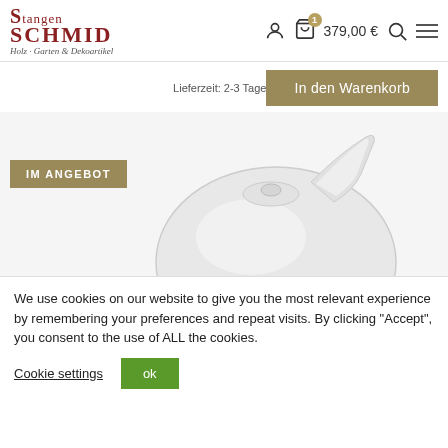Stangen SCHMID - Holz, Garten & Dekoartikel | Header navigation with cart 379,00 €
Lieferzeit: 2-3 Tage
In den Warenkorb
[Figure (photo): White ceramic teapot partially visible from above on a light grey background, with an 'IM ANGEBOT' (on sale) badge overlay in olive/tan color]
We use cookies on our website to give you the most relevant experience by remembering your preferences and repeat visits. By clicking "Accept", you consent to the use of ALL the cookies.
Cookie settings  ok